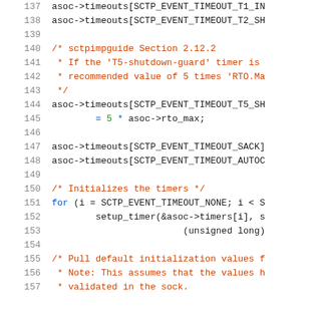Source code listing, lines 137-157, showing C code with SCTP timeout initialization
137	asoc->timeouts[SCTP_EVENT_TIMEOUT_T1_IN
138	asoc->timeouts[SCTP_EVENT_TIMEOUT_T2_SH
139	(empty)
140	/* sctpimpguide Section 2.12.2
141	 * If the 'T5-shutdown-guard' timer is
142	 * recommended value of 5 times 'RTO.Ma
143	 */
144	asoc->timeouts[SCTP_EVENT_TIMEOUT_T5_SH
145		= 5 * asoc->rto_max;
146	(empty)
147	asoc->timeouts[SCTP_EVENT_TIMEOUT_SACK]
148	asoc->timeouts[SCTP_EVENT_TIMEOUT_AUTOC
149	(empty)
150	/* Initializes the timers */
151	for (i = SCTP_EVENT_TIMEOUT_NONE; i < S
152		setup_timer(&asoc->timers[i], s
153			(unsigned long)
154	(empty)
155	/* Pull default initialization values f
156	 * Note: This assumes that the values h
157	 * validated in the sock.